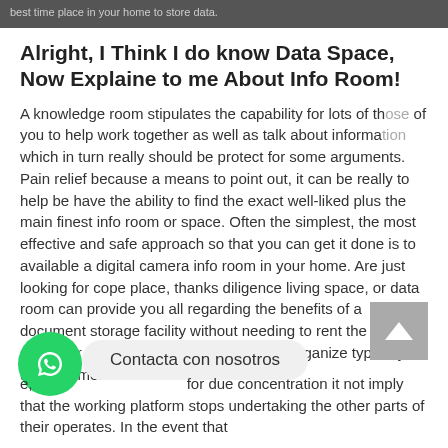best time place in your home to store data.
Alright, I Think I do know Data Space, Now Explaine to me About Info Room!
A knowledge room stipulates the capability for lots of those of you to help work together as well as talk about information which in turn really should be protect for some arguments. Pain relief because a means to point out, it can be really to help be have the ability to find the exact well-liked plus the main finest info room or space. Often the simplest, the most effective and safe approach so that you can get it done is to available a digital camera info room in your home. Are just looking for cope place, thanks diligence living space, or data room can provide you all regarding the benefits of a document storage facility without needing to rent the particular physical room and one by one organize typically the documents.
e, for due concentration it not imply that the working platform stops undertaking the other parts of their operates. In the event that